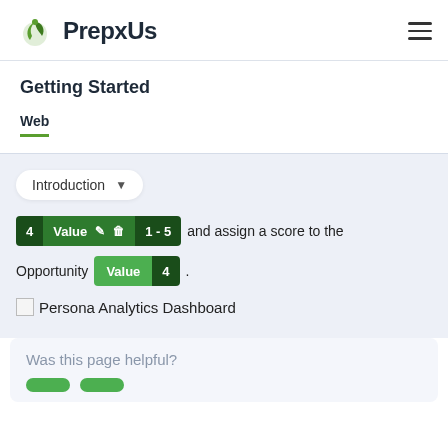PrepxUs
Getting Started
Web
Introduction
4 Value 1-5 and assign a score to the Opportunity Value 4.
[Figure (screenshot): Persona Analytics Dashboard image placeholder]
Was this page helpful?